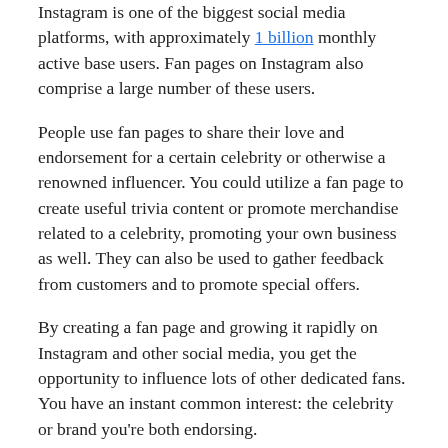Instagram is one of the biggest social media platforms, with approximately 1 billion monthly active base users. Fan pages on Instagram also comprise a large number of these users.
People use fan pages to share their love and endorsement for a certain celebrity or otherwise a renowned influencer. You could utilize a fan page to create useful trivia content or promote merchandise related to a celebrity, promoting your own business as well. They can also be used to gather feedback from customers and to promote special offers.
By creating a fan page and growing it rapidly on Instagram and other social media, you get the opportunity to influence lots of other dedicated fans. You have an instant common interest: the celebrity or brand you're both endorsing.
7 Steps To Create A Fan Page On Instagram